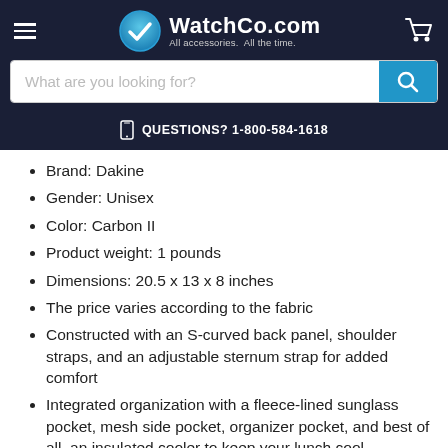WatchCo.com — All accessories. All the time.
What are you looking for?
QUESTIONS? 1-800-584-1618
Brand: Dakine
Gender: Unisex
Color: Carbon II
Product weight: 1 pounds
Dimensions: 20.5 x 13 x 8 inches
The price varies according to the fabric
Constructed with an S-curved back panel, shoulder straps, and an adjustable sternum strap for added comfort
Integrated organization with a fleece-lined sunglass pocket, mesh side pocket, organizer pocket, and best of all, an insulated cooler to keep your lunch cool